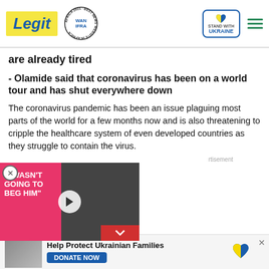Legit — WAN IFRA 2021 Best News Website in Africa — Stand with Ukraine
are already tired
- Olamide said that coronavirus has been on a world tour and has shut everywhere down
The coronavirus pandemic has been an issue plaguing most parts of the world for a few months now and is also threatening to cripple the healthcare system of even developed countries as they struggle to contain the virus.
[Figure (screenshot): Video advertisement showing two people with text 'I WASN'T GOING TO BEG HIM' on pink background with play button]
[Figure (screenshot): Help Protect Ukrainian Families - Donate Now banner with Ukraine heart logo and photo of people]